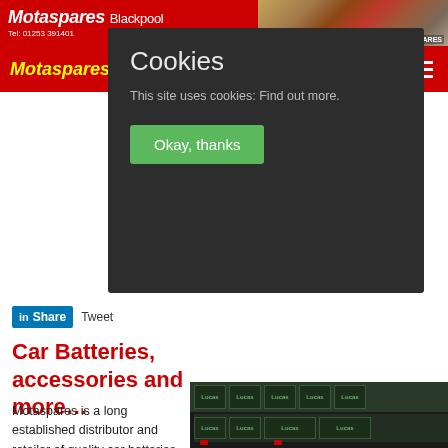Motaspares Blackpool
[Figure (screenshot): Motaspares Blackpool website header with red background and store photo]
[Figure (screenshot): Cookie consent overlay popup with dark background, 'Cookies' title, 'This site uses cookies: Find out more.' text and green 'Okay, thanks' button]
Share  Tweet
Car Batteries, accessories and more…
Motaspares is a long established distributor and retailer of quality car batteries and products at economic prices. Since 1986 we have been providing
[Figure (photo): Stacked Lucas brand car batteries in black and green packaging]